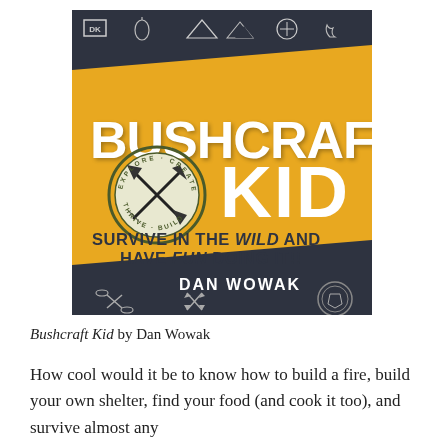[Figure (illustration): Book cover of 'Bushcraft Kid' by Dan Wowak, published by DK. Dark gray and golden yellow design with crossed axes logo in a circular badge reading 'Explore Create Adapt Thrive Build'. Title 'BUSHCRAFT KID' in large white distressed font. Subtitle 'Survive in the Wild and Have Fun Doing It!!' and author name 'Dan Wowak' at the bottom. Small outdoor/survival icons along top.]
Bushcraft Kid by Dan Wowak
How cool would it be to know how to build a fire, build your own shelter, find your food (and cook it too), and survive almost any...